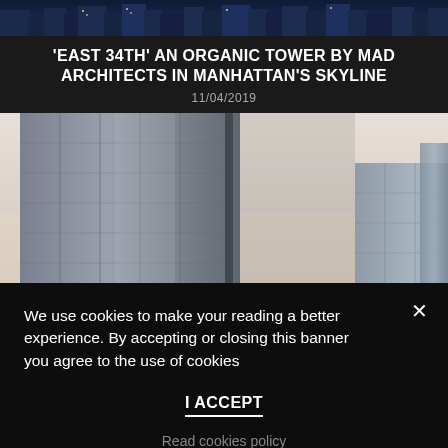[Figure (photo): Night cityscape skyline banner at the top of the page]
'EAST 34TH' AN ORGANIC TOWER BY MAD ARCHITECTS IN MANHATTAN'S SKYLINE
11/04/2019
[Figure (photo): Photo of modern glass skyscrapers against a pale sky, featuring tall glass curtain-wall towers]
We use cookies to make your reading a better experience. By accepting or closing this banner you agree to the use of cookies
I ACCEPT
Read cookies policy